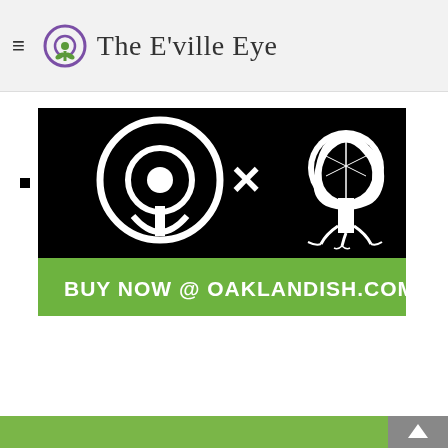The E'ville Eye
[Figure (logo): The E'ville Eye logo with circular eye/plant icon and text]
[Figure (illustration): Advertisement banner: Black background with The E'ville Eye logo × Oaklandish tree logo, green bar below reads BUY NOW @ OAKLANDISH.COM]